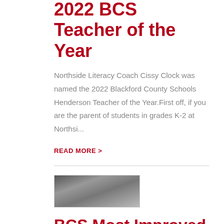2022 BCS Teacher of the Year
Northside Literacy Coach Cissy Clock was named the 2022 Blackford County Schools Henderson Teacher of the Year.First off, if you are the parent of students in grades K-2 at Northsi...
READ MORE >
[Figure (photo): Group photo of students and adults posed together indoors]
BCS Most Improved Students Honored for their hard work